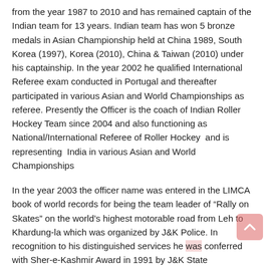from the year 1987 to 2010 and has remained captain of the Indian team for 13 years. Indian team has won 5 bronze medals in Asian Championship held at China 1989, South Korea (1997), Korea (2010), China & Taiwan (2010) under his captainship. In the year 2002 he qualified International Referee exam conducted in Portugal and thereafter participated in various Asian and World Championships as referee. Presently the Officer is the coach of Indian Roller Hockey Team since 2004 and also functioning as National/International Referee of Roller Hockey  and is  representing  India in various Asian and World Championships
In the year 2003 the officer name was entered in the LIMCA book of world records for being the team leader of “Rally on Skates” on the world’s highest motorable road from Leh to Khardung-la which was organized by J&K Police. In recognition to his distinguished services he was conferred with Sher-e-Kashmir Award in 1991 by J&K State Government, Best Goal Keeper award in 32th National Championship at Patiala, Best Sport Person Award by J&K State Government in 2006, DGP Medal in 2006, Police